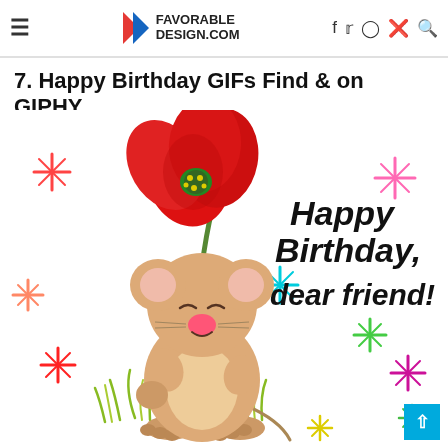FAVORABLE DESIGN.COM
7. Happy Birthday GIFs Find & on GIPHY
[Figure (illustration): Cartoon mouse holding a large red poppy flower with colorful sparkle stars around it, text reads 'Happy Birthday, dear friend!']